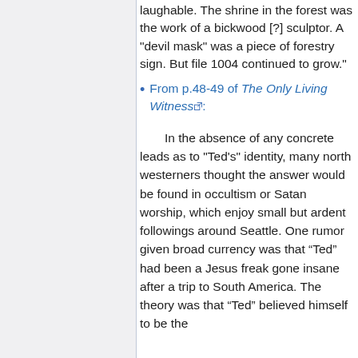laughable. The shrine in the forest was the work of a bickwood [?] sculptor. A "devil mask" was a piece of forestry sign. But file 1004 continued to grow."
From p.48-49 of The Only Living Witness:
In the absence of any concrete leads as to "Ted's" identity, many north westerners thought the answer would be found in occultism or Satan worship, which enjoy small but ardent followings around Seattle. One rumor given broad currency was that “Ted” had been a Jesus freak gone insane after a trip to South America. The theory was that “Ted” believed himself to be the